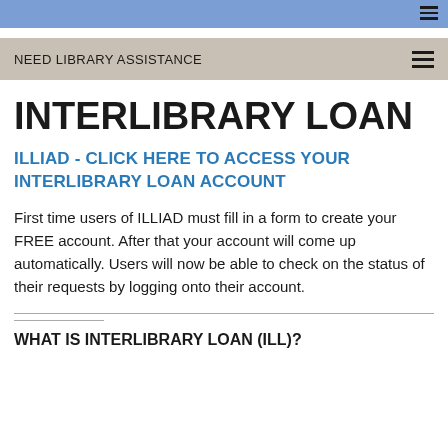NEED LIBRARY ASSISTANCE
INTERLIBRARY LOAN
ILLIAD - CLICK HERE TO ACCESS YOUR INTERLIBRARY LOAN ACCOUNT
First time users of ILLIAD must fill in a form to create your FREE account. After that your account will come up automatically.  Users will now be able to check on the status of their requests by logging onto their account.
WHAT IS INTERLIBRARY LOAN (ILL)?